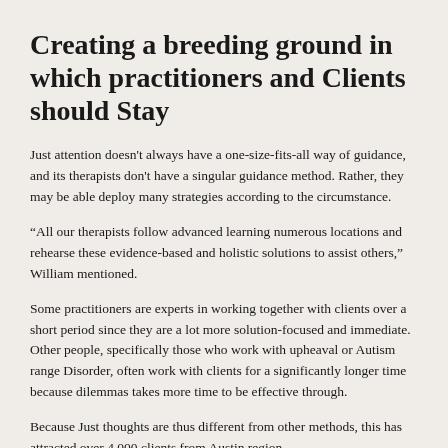Creating a breeding ground in which practitioners and Clients should Stay
Just attention doesn't always have a one-size-fits-all way of guidance, and its therapists don't have a singular guidance method. Rather, they may be able deploy many strategies according to the circumstance.
“All our therapists follow advanced learning numerous locations and rehearse these evidence-based and holistic solutions to assist others,” William mentioned.
Some practitioners are experts in working together with clients over a short period since they are a lot more solution-focused and immediate. Other people, specifically those who work with upheaval or Autism range Disorder, often work with clients for a significantly longer time because dilemmas takes more time to be effective through.
Because Just thoughts are thus different from other methods, this has attracted over 4,000 clients from Austin region.